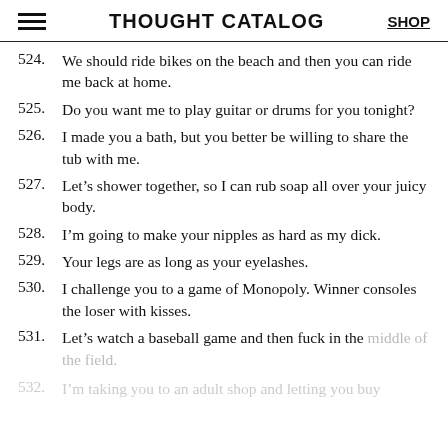THOUGHT CATALOG | SHOP
524. We should ride bikes on the beach and then you can ride me back at home.
525. Do you want me to play guitar or drums for you tonight?
526. I made you a bath, but you better be willing to share the tub with me.
527. Let’s shower together, so I can rub soap all over your juicy body.
528. I’m going to make your nipples as hard as my dick.
529. Your legs are as long as your eyelashes.
530. I challenge you to a game of Monopoly. Winner consoles the loser with kisses.
531. Let’s watch a baseball game and then fuck in the middle of the field.
532. I’m taking you to an adult shop and letting you buy